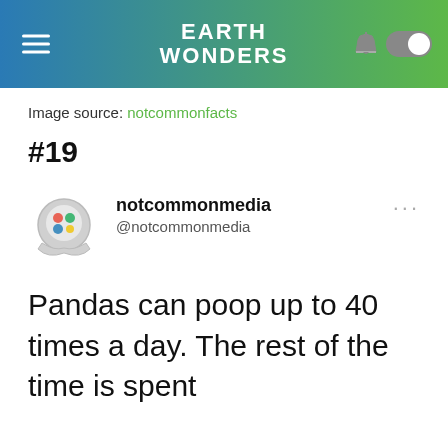EARTH WONDERS
Image source: notcommonfacts
#19
[Figure (logo): notcommonmedia profile avatar — speech bubble with colorful brain-like icon]
notcommonmedia @notcommonmedia
Pandas can poop up to 40 times a day. The rest of the time is spent